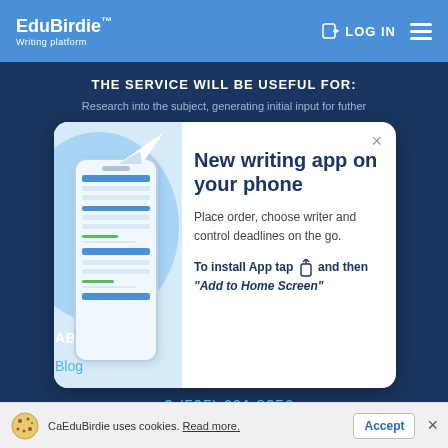EduBirdie™ Writing platform | LOG IN
THE SERVICE WILL BE USEFUL FOR:
Research into the subject, generating initial input for futher
[Figure (screenshot): Modal popup with phone illustration and paper plane icon. Title: 'New writing app on your phone'. Description: 'Place order, choose writer and control deadlines on the go.' Install instructions: 'To install App tap [share icon] and then "Add to Home Screen"']
+3 (595) 691 8356
ABOUT US:
Blog
CaEduBirdie uses cookies. Read more. | Accept | ×